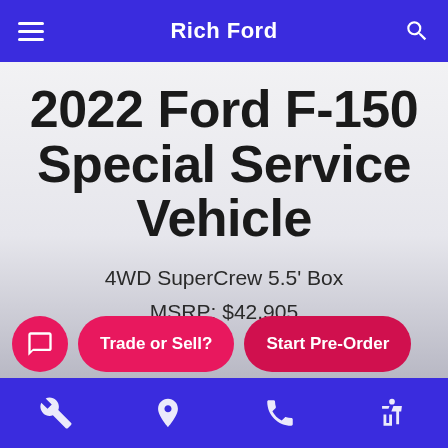Rich Ford
2022 Ford F-150 Special Service Vehicle
4WD SuperCrew 5.5' Box
MSRP: $42,905
Trade or Sell? | Start Pre-Order